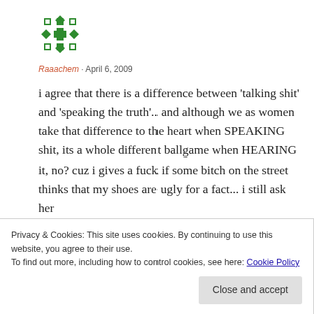[Figure (illustration): Green decorative avatar/identicon with geometric pattern on white background]
Raaachem · April 6, 2009
i agree that there is a difference between 'talking shit' and 'speaking the truth'.. and although we as women take that difference to the heart when SPEAKING shit, its a whole different ballgame when HEARING it, no? cuz i gives a fuck if some bitch on the street thinks that my shoes are ugly for a fact... i still ask her
Privacy & Cookies: This site uses cookies. By continuing to use this website, you agree to their use.
To find out more, including how to control cookies, see here: Cookie Policy
Close and accept